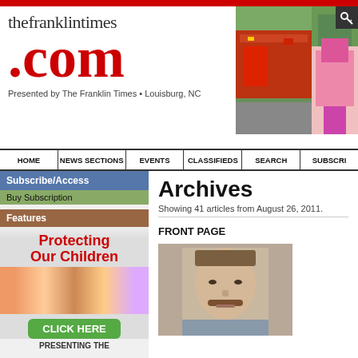thefranklintimes.com — Presented by The Franklin Times • Louisburg, NC
[Figure (screenshot): Fire trucks and girl scout photos in header]
[Figure (other): Key/search icon in top right corner]
HOME | NEWS SECTIONS | EVENTS | CLASSIFIEDS | SEARCH | SUBSCRI
Archives
Showing 41 articles from August 26, 2011.
Subscribe/Access
Buy Subscription
Features
[Figure (illustration): Protecting Our Children advertisement with children group photo and CLICK HERE button]
PRESENTING THE
FRONT PAGE
[Figure (photo): Headshot photo of a man with mustache]